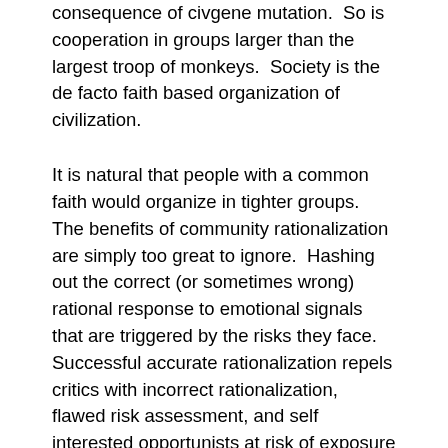consequence of civgene mutation.  So is cooperation in groups larger than the largest troop of monkeys.  Society is the de facto faith based organization of civilization.
It is natural that people with a common faith would organize in tighter groups.  The benefits of community rationalization are simply too great to ignore.  Hashing out the correct (or sometimes wrong) rational response to emotional signals that are triggered by the risks they face.  Successful accurate rationalization repels critics with incorrect rationalization, flawed risk assessment, and self interested opportunists at risk of exposure of defections from societies at all scales.  Religion and politics are groups of empathic humans exploring their faith.  Groups working together at tuning their waking minds to understand the signals from their guts (so to speak.)
Society and therefore civilization become undermined and eventually destroyed when religion or politics are subverted.